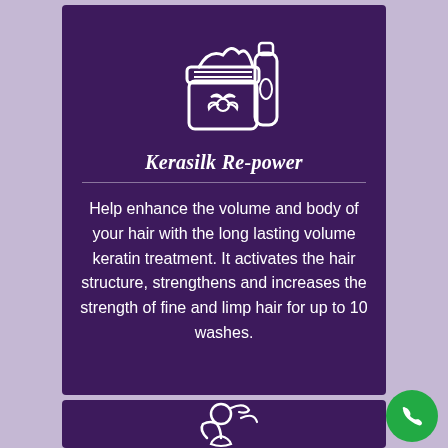[Figure (illustration): White line-art icon of a cosmetic jar with lotus flower and a tube/bottle, on dark purple background]
Kerasilk Re-power
Help enhance the volume and body of your hair with the long lasting volume keratin treatment. It activates the hair structure, strengthens and increases the strength of fine and limp hair for up to 10 washes.
[Figure (illustration): White line-art icon of a person having hair dyed with a brush and bowl, on dark purple background]